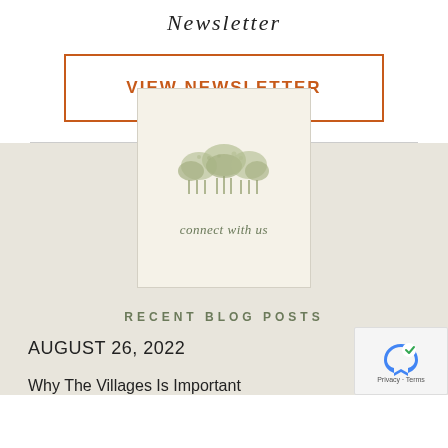Newsletter
VIEW NEWSLETTER
[Figure (logo): Tree/forest illustration logo with text 'connect with us' below in italic green font]
RECENT BLOG POSTS
AUGUST 26, 2022
Why The Villages Is Important